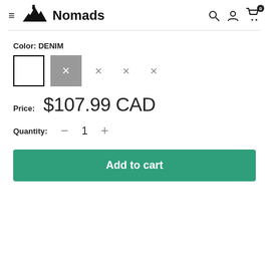Nomads [hamburger menu, search, account, cart icons]
Color: DENIM
[Figure (other): Color swatches: white active square, gray with X, three X marks for unavailable options]
Price: $107.99 CAD
Quantity: − 1 +
Add to cart